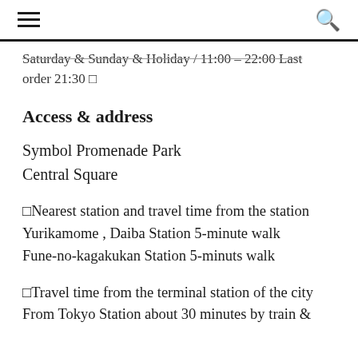[hamburger menu icon] [search icon]
Saturday & Sunday & Holiday / 11:00 – 22:00 Last order 21:30 □
Access & address
Symbol Promenade Park
Central Square
□Nearest station and travel time from the station
Yurikamome , Daiba Station 5-minute walk
Fune-no-kagakukan Station 5-minuts walk
□Travel time from the terminal station of the city
From Tokyo Station about 30 minutes by train &